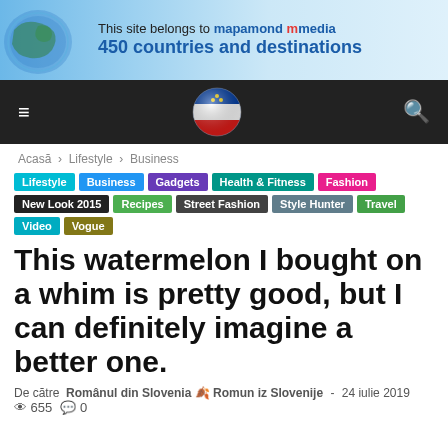[Figure (infographic): Banner: world map globe image on left, text 'This site belongs to mapamond media 450 countries and destinations' on blue gradient background]
Navigation bar with hamburger menu, Slovenia flag globe icon, and search icon on dark background
Acasă › Lifestyle › Business
Lifestyle | Business | Gadgets | Health & Fitness | Fashion | New Look 2015 | Recipes | Street Fashion | Style Hunter | Travel | Video | Vogue
This watermelon I bought on a whim is pretty good, but I can definitely imagine a better one.
De către Românul din Slovenia 🍴 Romun iz Slovenije - 24 iulie 2019   655  0